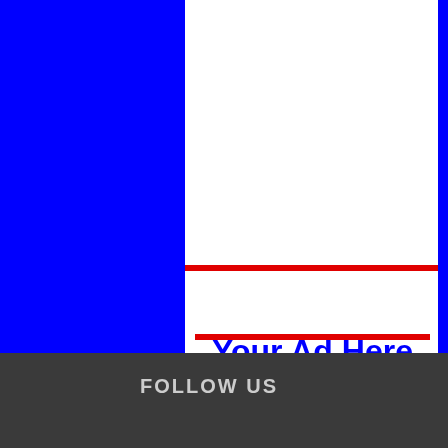[Figure (other): Advertisement box with blue background page, white center column, hatched gray divider strip, and a white ad box with red border lines containing ad text.]
Your Ad Here
Contact at
09811186005
crimehilore@gmail.com
FOLLOW US